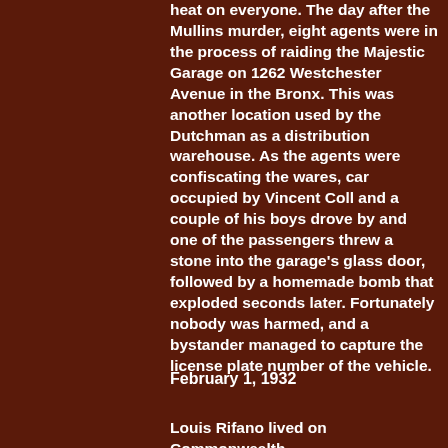heat on everyone. The day after the Mullins murder, eight agents were in the process of raiding the Majestic Garage on 1262 Westchester Avenue in the Bronx. This was another location used by the Dutchman as a distribution warehouse. As the agents were confiscating the wares, car occupied by Vincent Coll and a couple of his boys drove by and one of the passengers threw a stone into the garage's glass door, followed by a homemade bomb that exploded seconds later. Fortunately nobody was harmed, and a bystander managed to capture the license plate number of the vehicle.
February 1, 1932
Louis Rifano lived on Commonwealth